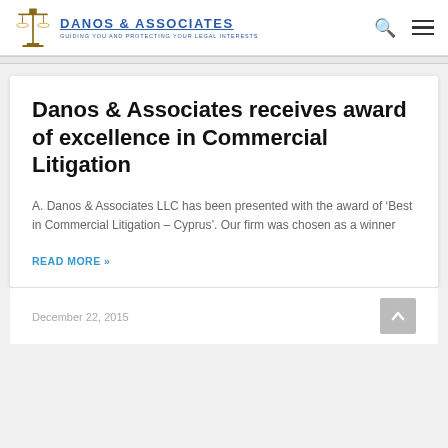DANOS & ASSOCIATES — GUIDING YOU AND PROTECTING YOUR LEGAL INTERESTS
Danos & Associates receives award of excellence in Commercial Litigation
A. Danos & Associates LLC has been presented with the award of 'Best in Commercial Litigation – Cyprus'. Our firm was chosen as a winner
READ MORE »
December 22, 2015